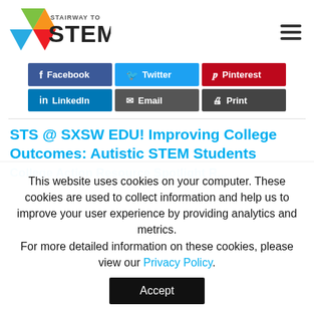[Figure (logo): Stairway to STEM logo with colorful pinwheel/triangle icon and text 'STAIRWAY TO STEM']
[Figure (infographic): Social share buttons: Facebook, Twitter, Pinterest, LinkedIn, Email, Print]
STS @ SXSW EDU! Improving College Outcomes: Autistic STEM Students
College Action Resource Spotlight R...
This website uses cookies on your computer. These cookies are used to collect information and help us to improve your user experience by providing analytics and metrics. For more detailed information on these cookies, please view our Privacy Policy.